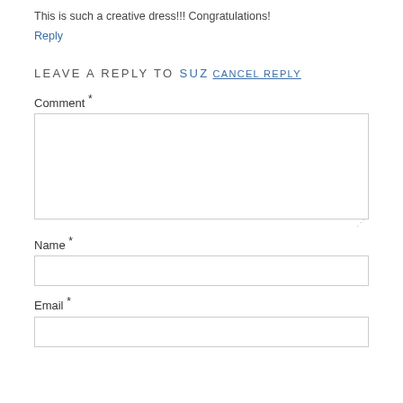This is such a creative dress!!! Congratulations!
Reply
LEAVE A REPLY TO SUZ CANCEL REPLY
Comment *
Name *
Email *